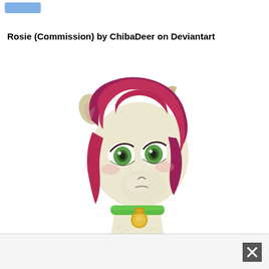Rosie (Commission) by ChibaDeer on Deviantart
[Figure (illustration): Digital anime-style illustration of a pony character named Rosie with dark pink/magenta hair, green eyes, cream-colored fur, wearing a green collar with a gold tag. The character is depicted from the chest up in a three-quarter view, with a slightly pouty or neutral expression. A watermark reading 'ChibaDeer' is visible in the upper middle area of the illustration.]